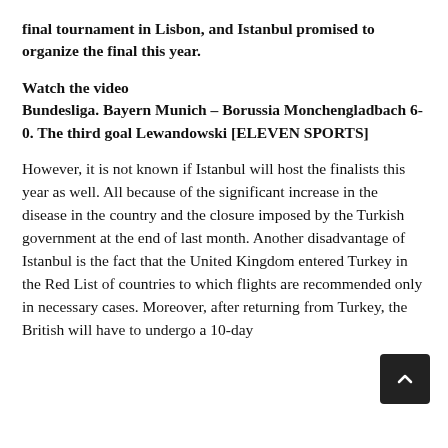final tournament in Lisbon, and Istanbul promised to organize the final this year.
Watch the video
Bundesliga. Bayern Munich – Borussia Monchengladbach 6-0. The third goal Lewandowski [ELEVEN SPORTS]
However, it is not known if Istanbul will host the finalists this year as well. All because of the significant increase in the disease in the country and the closure imposed by the Turkish government at the end of last month. Another disadvantage of Istanbul is the fact that the United Kingdom entered Turkey in the Red List of countries to which flights are recommended only in necessary cases. Moreover, after returning from Turkey, the British will have to undergo a 10-day